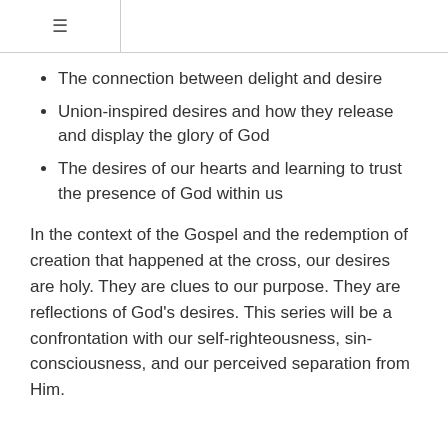≡
The connection between delight and desire
Union-inspired desires and how they release and display the glory of God
The desires of our hearts and learning to trust the presence of God within us
In the context of the Gospel and the redemption of creation that happened at the cross, our desires are holy. They are clues to our purpose. They are reflections of God's desires. This series will be a confrontation with our self-righteousness, sin-consciousness, and our perceived separation from Him.